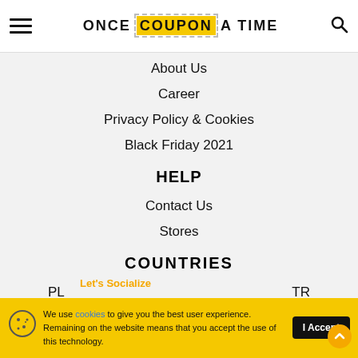ONCE COUPON A TIME
About Us
Career
Privacy Policy & Cookies
Black Friday 2021
HELP
Contact Us
Stores
COUNTRIES
PL
TR
US
IN
Let's Socialize
We use cookies to give you the best user experience. Remaining on the website means that you accept the use of this technology.